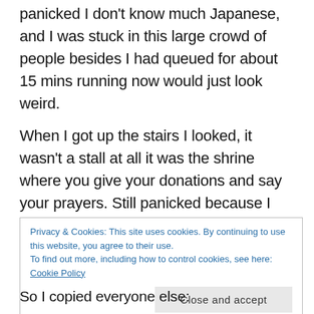panicked I don't know much Japanese, and I was stuck in this large crowd of people besides I had queued for about 15 mins running now would just look weird.
When I got up the stairs I looked, it wasn't a stall at all it was the shrine where you give your donations and say your prayers. Still panicked because I didn't know what to do I don't really want to look like the stupid foreign person.
Privacy & Cookies: This site uses cookies. By continuing to use this website, you agree to their use.
To find out more, including how to control cookies, see here: Cookie Policy
So I copied everyone else: